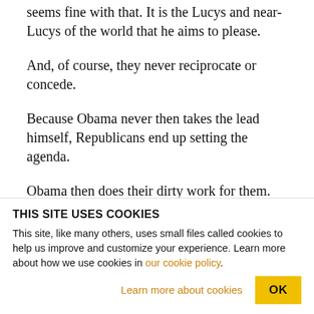seems fine with that. It is the Lucys and near-Lucys of the world that he aims to please.
And, of course, they never reciprocate or concede.
Because Obama never then takes the lead himself, Republicans end up setting the agenda.
Obama then does their dirty work for them. This is how he became so villainous on immigration issues – not in words, but in deeds.
Our President is hardly a stickler when it comes to
THIS SITE USES COOKIES
This site, like many others, uses small files called cookies to help us improve and customize your experience. Learn more about how we use cookies in our cookie policy.
Learn more about cookies
OK